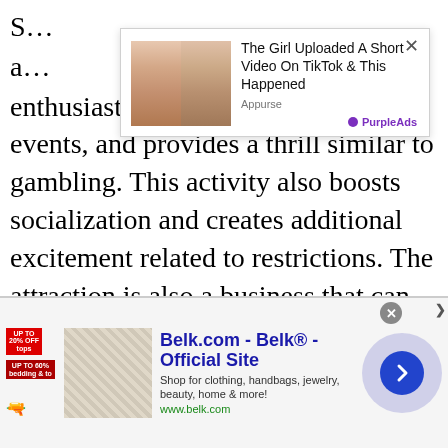S... a... enthusiasts' experience with athletic events, and provides a thrill similar to gambling. This activity also boosts socialization and creates additional excitement related to restrictions. The attraction is also a business that can give great money to sports enthusiasts. It reminds of commercial gambling, requires a careful approach, and brings material benefits to various countries, companies, and individuals.
[Figure (screenshot): Advertisement overlay showing two female faces side by side, with title 'The Girl Uploaded A Short Video On TikTok & This Happened', source 'Appurse', and PurpleAds badge. Close button (x) in top right.]
[Figure (screenshot): Banner advertisement for Belk.com - Belk® - Official Site. Shows 'UP TO 20% OFF' badges, a decorative image, text 'Shop for clothing, handbags, jewelry, beauty, home & more!' and URL www.belk.com. Features a blue circle with right chevron arrow and a close button.]